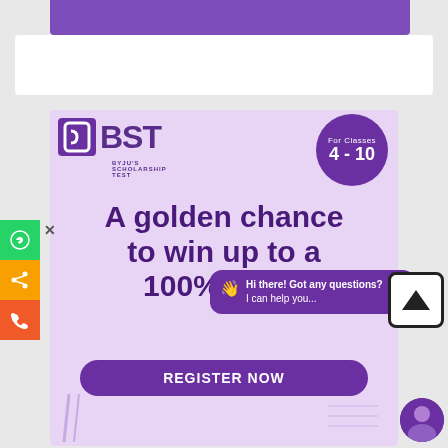[Figure (screenshot): BYJU's BST (Byju's Scholarship Test) advertisement banner. Features BST logo with purple square icon and large text, 'For Classes 4 - 10' badge in purple circle, lavender background with tagline 'A golden chance to win up to a 100% sch...' and a 'REGISTER NOW' purple button. Left side has WhatsApp, share, and phone social buttons. A purple chat bubble overlay reads 'Hi there! Got any questions? I can help you...' with wave emoji. An upload/arrow icon and a circular avatar of a man in suit are also visible.]
BYJU'S SCHOLARSHIP TEST
For Classes 4 - 10
A golden chance to win up to a 100% sch...
REGISTER NOW
Hi there! Got any questions? I can help you...